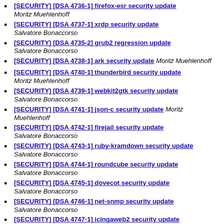[SECURITY] [DSA 4736-1] firefox-esr security update — Moritz Muehlenhoff
[SECURITY] [DSA 4737-1] xrdp security update — Salvatore Bonaccorso
[SECURITY] [DSA 4735-2] grub2 regression update — Salvatore Bonaccorso
[SECURITY] [DSA 4738-1] ark security update — Moritz Muehlenhoff
[SECURITY] [DSA 4740-1] thunderbird security update — Moritz Muehlenhoff
[SECURITY] [DSA 4739-1] webkit2gtk security update — Salvatore Bonaccorso
[SECURITY] [DSA 4741-1] json-c security update — Moritz Muehlenhoff
[SECURITY] [DSA 4742-1] firejail security update — Salvatore Bonaccorso
[SECURITY] [DSA 4743-1] ruby-kramdown security update — Salvatore Bonaccorso
[SECURITY] [DSA 4744-1] roundcube security update — Salvatore Bonaccorso
[SECURITY] [DSA 4745-1] dovecot security update — Salvatore Bonaccorso
[SECURITY] [DSA 4746-1] net-snmp security update — Salvatore Bonaccorso
[SECURITY] [DSA 4747-1] icingaweb2 security update — Moritz Muehlenhoff